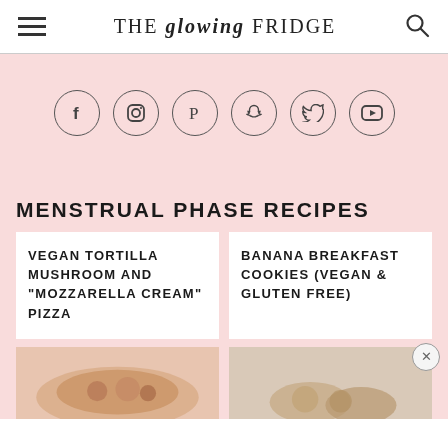THE glowing FRIDGE
[Figure (infographic): Six circular social media icons on pink background: Facebook, Instagram, Pinterest, Snapchat, Twitter, YouTube]
MENSTRUAL PHASE RECIPES
VEGAN TORTILLA MUSHROOM AND “MOZZARELLA CREAM” PIZZA
BANANA BREAKFAST COOKIES (VEGAN & GLUTEN FREE)
[Figure (photo): Two food photos at the bottom: a pizza on the left, cookies on the right]